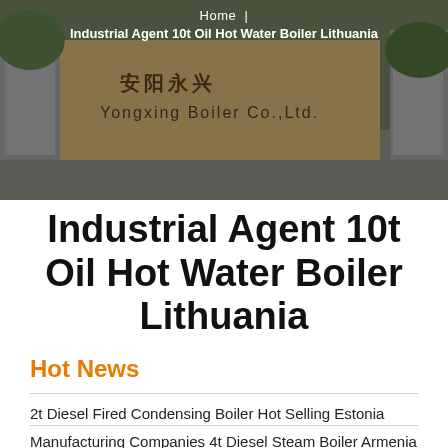[Figure (photo): Photograph of a boiler company building exterior with Chinese signage reading 'Boiler Co., Ltd.' and a factory gate visible in the background.]
Home | Industrial Agent 10t Oil Hot Water Boiler Lithuania
Industrial Agent 10t Oil Hot Water Boiler Lithuania
Hot News
2t Diesel Fired Condensing Boiler Hot Selling Estonia
Manufacturing Companies 4t Diesel Steam Boiler Armenia